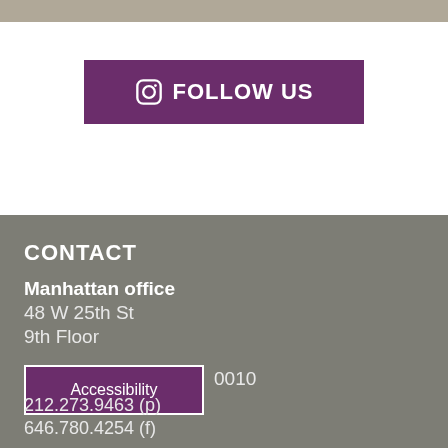[Figure (photo): Partial photo strip at the top of the page showing an outdoor scene]
FOLLOW US
CONTACT
Manhattan office
48 W 25th St
9th Floor
New York, NY 10010
212.273.9463 (p)
646.780.4254 (f)
Accessibility
212.273.9463 (p)
646.780.4254 (f)